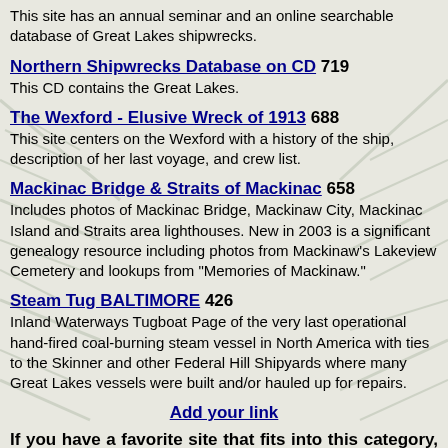This site has an annual seminar and an online searchable database of Great Lakes shipwrecks.
Northern Shipwrecks Database on CD 719
This CD contains the Great Lakes.
The Wexford - Elusive Wreck of 1913 688
This site centers on the Wexford with a history of the ship, description of her last voyage, and crew list.
Mackinac Bridge & Straits of Mackinac 658
Includes photos of Mackinac Bridge, Mackinaw City, Mackinac Island and Straits area lighthouses. New in 2003 is a significant genealogy resource including photos from Mackinaw's Lakeview Cemetery and lookups from "Memories of Mackinaw."
Steam Tug BALTIMORE 426
Inland Waterways Tugboat Page of the very last operational hand-fired coal-burning steam vessel in North America with ties to the Skinner and other Federal Hill Shipyards where many Great Lakes vessels were built and/or hauled up for repairs.
Add your link
If you have a favorite site that fits into this category, please take a few moments to add the link so the